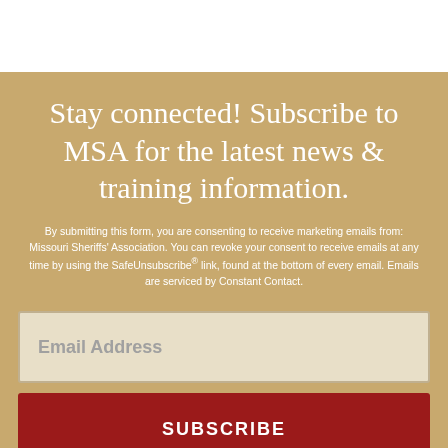Stay connected! Subscribe to MSA for the latest news & training information.
By submitting this form, you are consenting to receive marketing emails from: Missouri Sheriffs' Association. You can revoke your consent to receive emails at any time by using the SafeUnsubscribe® link, found at the bottom of every email. Emails are serviced by Constant Contact.
Email Address
SUBSCRIBE